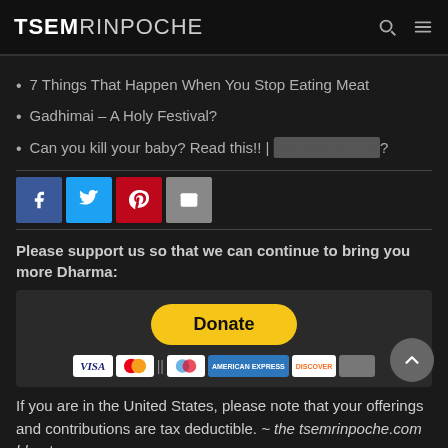TSEM RINPOCHE
7 Things That Happen When You Stop Eating Meat
Gadhimai – A Holy Festival?
Can you kill your baby? Read this!! | [redacted]?
[Figure (other): Social share buttons: Facebook, Twitter, Pinterest, Email]
Please support us so that we can continue to bring you more Dharma:
[Figure (other): PayPal Donate button with Visa, Mastercard, Maestro, American Express, Discover, and other card logos]
If you are in the United States, please note that your offerings and contributions are tax deductible. ~ the tsemrinpoche.com blog team
Posted in Animals, Vegetarianism & Environment